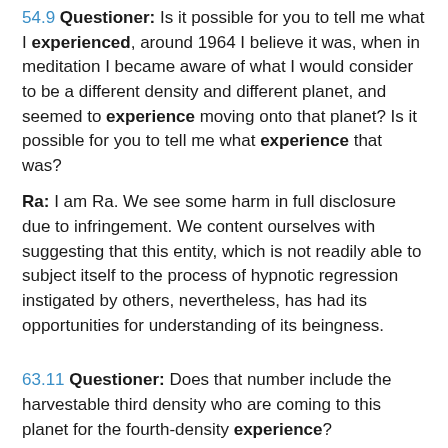54.9 Questioner: Is it possible for you to tell me what I experienced, around 1964 I believe it was, when in meditation I became aware of what I would consider to be a different density and different planet, and seemed to experience moving onto that planet? Is it possible for you to tell me what experience that was?
Ra: I am Ra. We see some harm in full disclosure due to infringement. We content ourselves with suggesting that this entity, which is not readily able to subject itself to the process of hypnotic regression instigated by others, nevertheless, has had its opportunities for understanding of its beingness.
63.11 Questioner: Does that number include the harvestable third density who are coming to this planet for the fourth-density experience?
Ra: I am Ra. No.